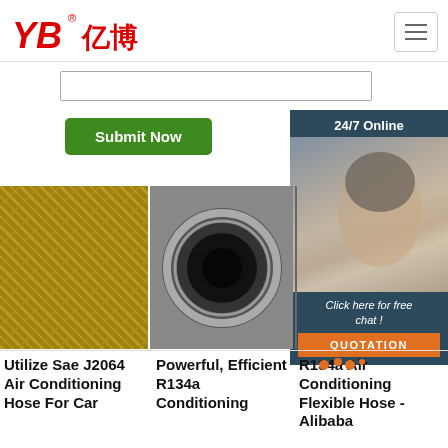[Figure (logo): YB亿博 company logo in red with registered trademark symbol]
[Figure (screenshot): Search input box area]
[Figure (screenshot): Green Submit Now button]
[Figure (infographic): 24/7 Online chat widget with customer service agent photo, Click here for free chat! text, and QUOTATION orange button]
[Figure (photo): Braided metal hose close-up - Utilize Sae J2064 Air Conditioning Hose For Car]
[Figure (photo): Black rubber hose end-on view - Powerful, Efficient R134a Conditioning]
[Figure (photo): Partial view of another hose - R134a Air Conditioning Flexible Hose - Alibaba]
Utilize Sae J2064 Air Conditioning Hose For Car
Powerful, Efficient R134a Conditioning
R134a Air Conditioning Flexible Hose - Alibaba